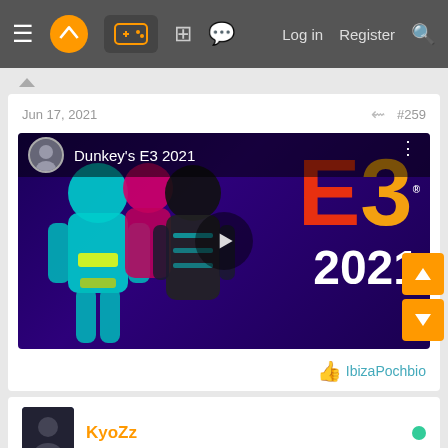Navigation bar with menu, logo, games icon, grid, chat, Log in, Register, Search
Jun 17, 2021  #259
[Figure (screenshot): YouTube video thumbnail for Dunkey's E3 2021 showing animated game characters (Samus-like figures) with large E3 2021 logo on purple background, with play button overlay]
IbizaPochbio
KyoZz